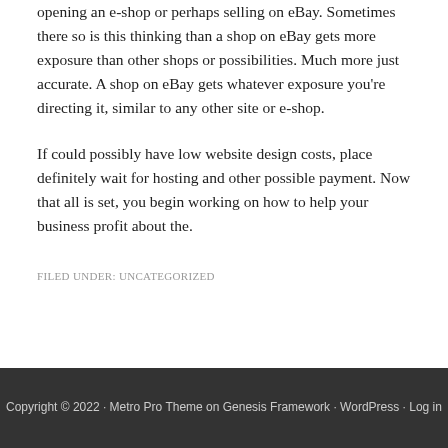opening an e-shop or perhaps selling on eBay. Sometimes there so is this thinking than a shop on eBay gets more exposure than other shops or possibilities. Much more just accurate. A shop on eBay gets whatever exposure you're directing it, similar to any other site or e-shop.
If could possibly have low website design costs, place definitely wait for hosting and other possible payment. Now that all is set, you begin working on how to help your business profit about the.
FILED UNDER: UNCATEGORIZED
Copyright © 2022 · Metro Pro Theme on Genesis Framework · WordPress · Log in